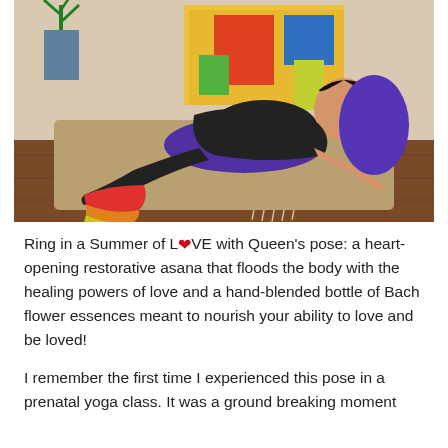[Figure (photo): A pregnant woman wearing black clothing and colorful rainbow striped socks lies in a restorative yoga pose (Queen's pose / supported reclined pose) on a mat with a purple bolster supporting her back, a colorful painting and a plant in the background on a wooden floor.]
Ring in a Summer of LOVE with Queen's pose: a heart-opening restorative asana that floods the body with the healing powers of love and a hand-blended bottle of Bach flower essences meant to nourish your ability to love and be loved!
I remember the first time I experienced this pose in a prenatal yoga class. It was a ground breaking moment